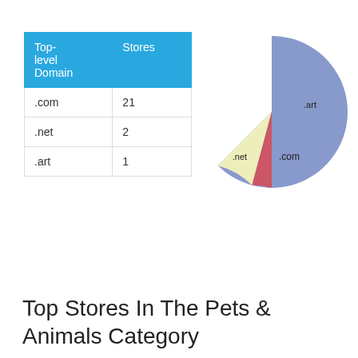| Top-level Domain | Stores |
| --- | --- |
| .com | 21 |
| .net | 2 |
| .art | 1 |
[Figure (pie-chart): ]
Top Stores In The Pets & Animals Category